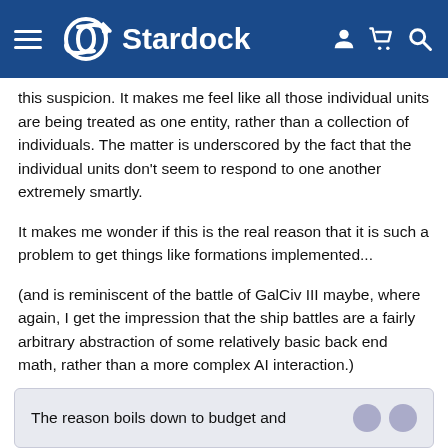Stardock
this suspicion. It makes me feel like all those individual units are being treated as one entity, rather than a collection of individuals. The matter is underscored by the fact that the individual units don't seem to respond to one another extremely smartly.
It makes me wonder if this is the real reason that it is such a problem to get things like formations implemented...
(and is reminiscent of the battle of GalCiv III maybe, where again, I get the impression that the ship battles are a fairly arbitrary abstraction of some relatively basic back end math, rather than a more complex AI interaction.)
The reason boils down to budget and